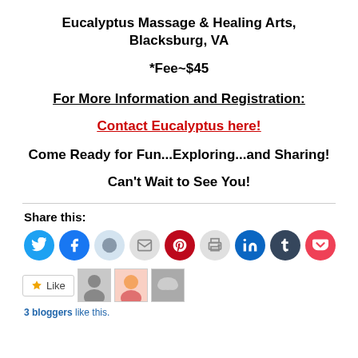Eucalyptus Massage & Healing Arts, Blacksburg, VA
*Fee~$45
For More Information and Registration:
Contact Eucalyptus here!
Come Ready for Fun...Exploring...and Sharing!
Can't Wait to See You!
Share this:
3 bloggers like this.